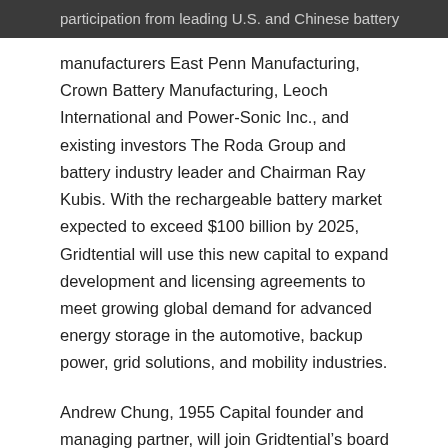participation from leading U.S. and Chinese battery
manufacturers East Penn Manufacturing, Crown Battery Manufacturing, Leoch International and Power-Sonic Inc., and existing investors The Roda Group and battery industry leader and Chairman Ray Kubis. With the rechargeable battery market expected to exceed $100 billion by 2025, Gridtential will use this new capital to expand development and licensing agreements to meet growing global demand for advanced energy storage in the automotive, backup power, grid solutions, and mobility industries.
Andrew Chung, 1955 Capital founder and managing partner, will join Gridtential’s board of directors and help propel the company into the rapidly expanding